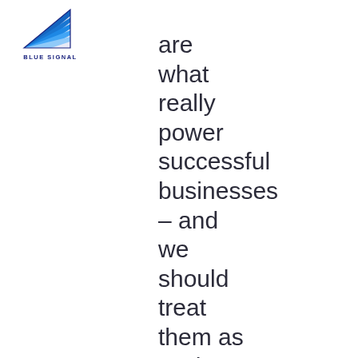[Figure (logo): Blue Signal company logo with blue layered triangle/flag shape above text 'BLUE SIGNAL']
are what really power successful businesses – and we should treat them as such.